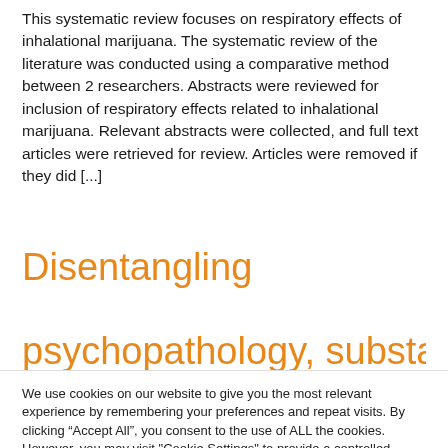This systematic review focuses on respiratory effects of inhalational marijuana. The systematic review of the literature was conducted using a comparative method between 2 researchers. Abstracts were reviewed for inclusion of respiratory effects related to inhalational marijuana. Relevant abstracts were collected, and full text articles were retrieved for review. Articles were removed if they did [...]
Disentangling psychopathology, substance
We use cookies on our website to give you the most relevant experience by remembering your preferences and repeat visits. By clicking "Accept All", you consent to the use of ALL the cookies. However, you may visit "Cookie Settings" to provide a controlled consent.